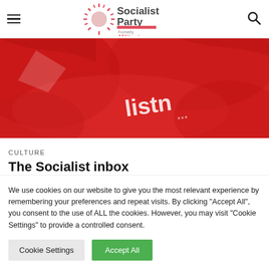Socialist Party - Formerly Militant
[Figure (photo): Close-up photograph of red fabric/banners with white text partially visible reading 'listn...']
CULTURE
The Socialist inbox
We use cookies on our website to give you the most relevant experience by remembering your preferences and repeat visits. By clicking "Accept All", you consent to the use of ALL the cookies. However, you may visit "Cookie Settings" to provide a controlled consent.